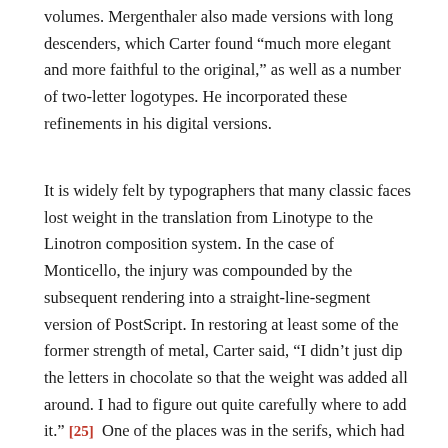volumes. Mergenthaler also made versions with long descenders, which Carter found “much more elegant and more faithful to the original,” as well as a number of two-letter logotypes. He incorporated these refinements in his digital versions.
It is widely felt by typographers that many classic faces lost weight in the translation from Linotype to the Linotron composition system. In the case of Monticello, the injury was compounded by the subsequent rendering into a straight-line-segment version of PostScript. In restoring at least some of the former strength of metal, Carter said, “I didn’t just dip the letters in chocolate so that the weight was added all around. I had to figure out quite carefully where to add it.” [25] One of the places was in the serifs, which had suffered somewhat in the